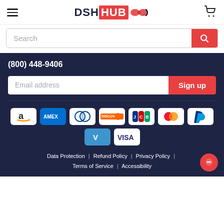[Figure (logo): DSH HUB logo with bow tie graphic]
Search
(800) 448-9406
Email address
Sign up
[Figure (infographic): Payment method icons: Amazon Pay, American Express, Diners Club, Discover, JCB, Mastercard, PayPal, Venmo, Visa]
Data Protection | Refund Policy | Privacy Policy | Terms of Service | Accessibility